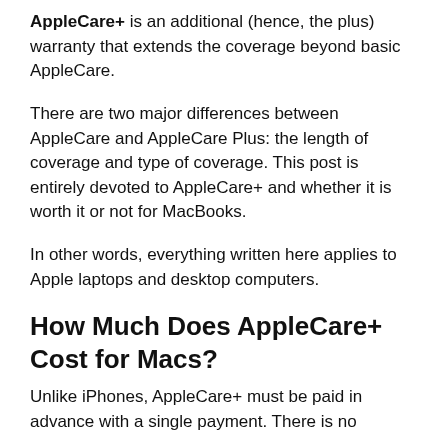AppleCare+ is an additional (hence, the plus) warranty that extends the coverage beyond basic AppleCare.
There are two major differences between AppleCare and AppleCare Plus: the length of coverage and type of coverage. This post is entirely devoted to AppleCare+ and whether it is worth it or not for MacBooks.
In other words, everything written here applies to Apple laptops and desktop computers.
How Much Does AppleCare+ Cost for Macs?
Unlike iPhones, AppleCare+ must be paid in advance with a single payment. There is no